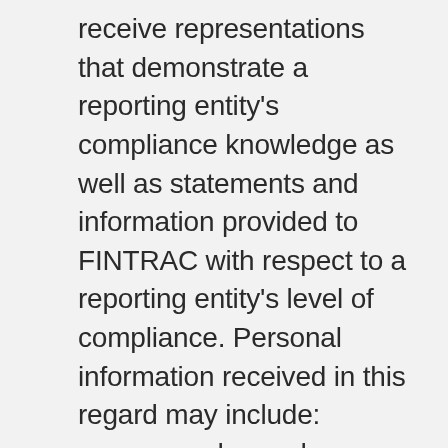receive representations that demonstrate a reporting entity's compliance knowledge as well as statements and information provided to FINTRAC with respect to a reporting entity's level of compliance. Personal information received in this regard may include: course grades and certifications, health and criminal record information, as well as correspondence, the details of which are implicitly or explicitly of a confidential or private nature